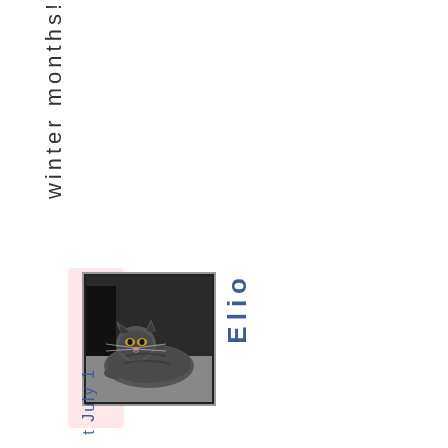winter months!
[Figure (photo): Black and white photograph of a tabby cat lying down, looking at the camera]
Elio
t July 1